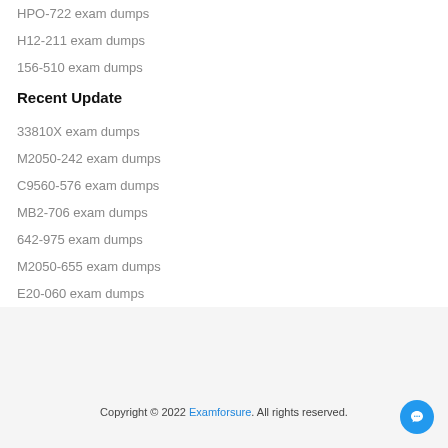HPO-722 exam dumps
H12-211 exam dumps
156-510 exam dumps
Recent Update
33810X exam dumps
M2050-242 exam dumps
C9560-576 exam dumps
MB2-706 exam dumps
642-975 exam dumps
M2050-655 exam dumps
E20-060 exam dumps
Copyright © 2022 Examforsure. All rights reserved.